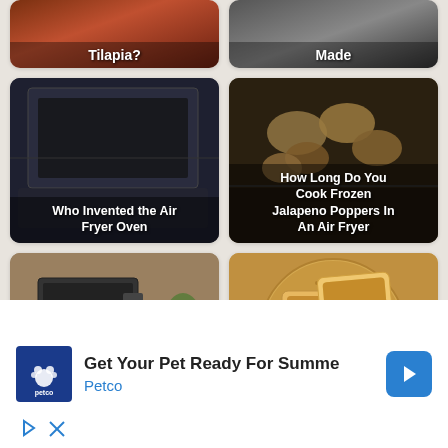[Figure (photo): Partial card showing 'Tilapia?' text over a food image, cropped at top]
[Figure (photo): Partial card showing 'Made' text over a dark image, cropped at top]
[Figure (photo): Air fryer oven interior image with text 'Who Invented the Air Fryer Oven']
[Figure (photo): Frozen jalapeno poppers in air fryer basket with text 'How Long Do You Cook Frozen Jalapeno Poppers In An Air Fryer']
[Figure (photo): Air fryer with rotisserie on counter with text 'Best Air Fryer with Rotisserie Consumer']
[Figure (photo): Toasted bread slices with text 'How to Toast Bread']
[Figure (screenshot): Advertisement banner: Petco logo with text 'Get Your Pet Ready For Summe' and 'Petco' in blue, with blue arrow navigation icon]